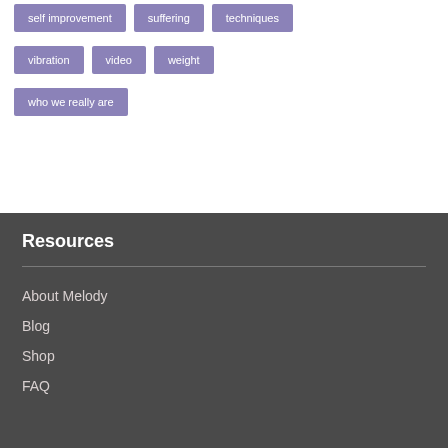self improvement
suffering
techniques
vibration
video
weight
who we really are
Resources
About Melody
Blog
Shop
FAQ